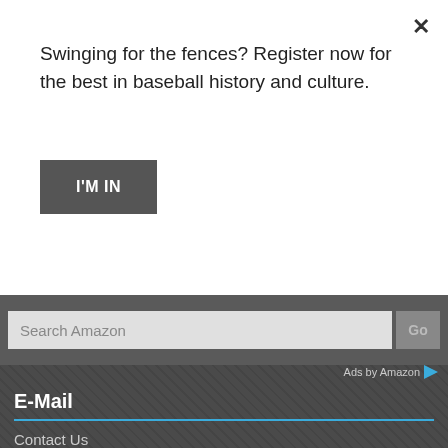Swinging for the fences? Register now for the best in baseball history and culture.
I'M IN
Search Amazon
Ads by Amazon
E-Mail
Contact Us
Popular
Tags
Blog Archives
Find A Player - Search Baseball-Almanac.com
ENHANCED BY Google